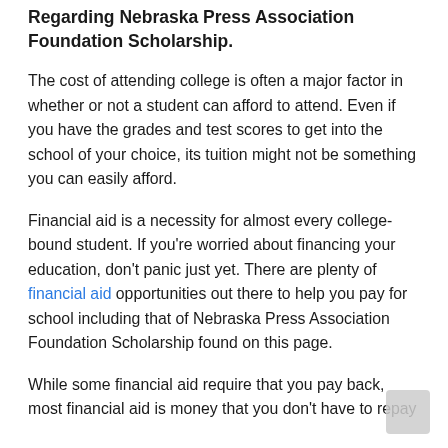Regarding Nebraska Press Association Foundation Scholarship.
The cost of attending college is often a major factor in whether or not a student can afford to attend. Even if you have the grades and test scores to get into the school of your choice, its tuition might not be something you can easily afford.
Financial aid is a necessity for almost every college-bound student. If you're worried about financing your education, don't panic just yet. There are plenty of financial aid opportunities out there to help you pay for school including that of Nebraska Press Association Foundation Scholarship found on this page.
While some financial aid require that you pay back, most financial aid is money that you don't have to repay